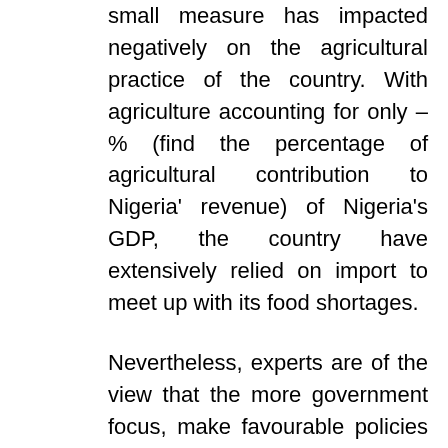small measure has impacted negatively on the agricultural practice of the country. With agriculture accounting for only –% (find the percentage of agricultural contribution to Nigeria' revenue) of Nigeria's GDP, the country have extensively relied on import to meet up with its food shortages.
Nevertheless, experts are of the view that the more government focus, make favourable policies and express the needed political will on the agricultural sector, the sector can help sustain Nigeria thereby averting imports and help to the balance of trade deficit...